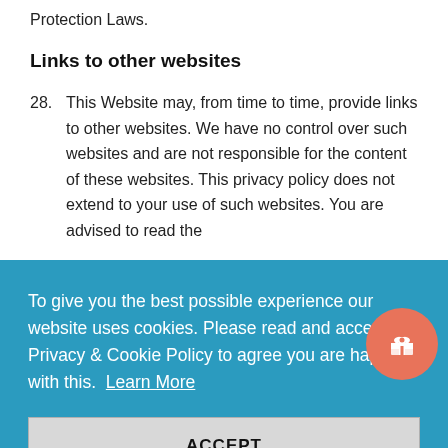Protection Laws.
Links to other websites
28. This Website may, from time to time, provide links to other websites. We have no control over such websites and are not responsible for the content of these websites. This privacy policy does not extend to your use of such websites. You are advised to read the
To give you the best possible experience our website uses cookies. Please read and accept our Privacy & Cookie Policy to agree you are happy with this. Learn More
ACCEPT
Earth Shop Ltd. Data provided by Users